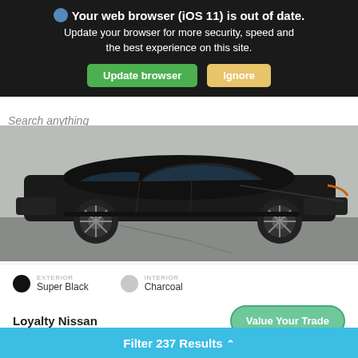Your web browser (iOS 11) is out of date. Update your browser for more security, speed and the best experience on this site. Update browser | Ignore
Search anything
[Figure (photo): Side profile of a black Nissan SUV/crossover vehicle parked on a paved surface]
EXTERIOR
Super Black
INTERIOR
Charcoal
Loyalty Nissan
Value Your Trade
USED 2019
Filter 237 Results ^